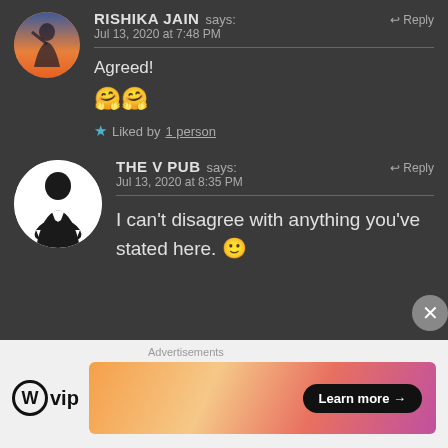RISHIKA JAIN says: ↩ Reply
Jul 13, 2020 at 7:48 PM
Agreed!
🤗🤗
★ Liked by 1 person
THE V PUB says: ↩ Reply
Jul 13, 2020 at 8:35 PM
I can't disagree with anything you've stated here. 🙂
Advertisements
𝕎vip  Learn more →